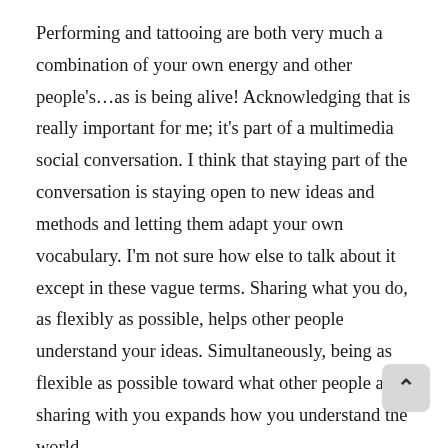Performing and tattooing are both very much a combination of your own energy and other people's...as is being alive! Acknowledging that is really important for me; it's part of a multimedia social conversation. I think that staying part of the conversation is staying open to new ideas and methods and letting them adapt your own vocabulary. I'm not sure how else to talk about it except in these vague terms. Sharing what you do, as flexibly as possible, helps other people understand your ideas. Simultaneously, being as flexible as possible toward what other people are sharing with you expands how you understand the world.
I started out working in animation. I was a film major in college and then worked as a negative cutter for about six